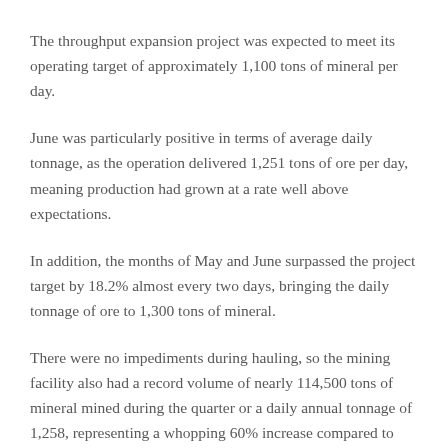The throughput expansion project was expected to meet its operating target of approximately 1,100 tons of mineral per day.
June was particularly positive in terms of average daily tonnage, as the operation delivered 1,251 tons of ore per day, meaning production had grown at a rate well above expectations.
In addition, the months of May and June surpassed the project target by 18.2% almost every two days, bringing the daily tonnage of ore to 1,300 tons of mineral.
There were no impediments during hauling, so the mining facility also had a record volume of nearly 114,500 tons of mineral mined during the quarter or a daily annual tonnage of 1,258, representing a whopping 60% increase compared to